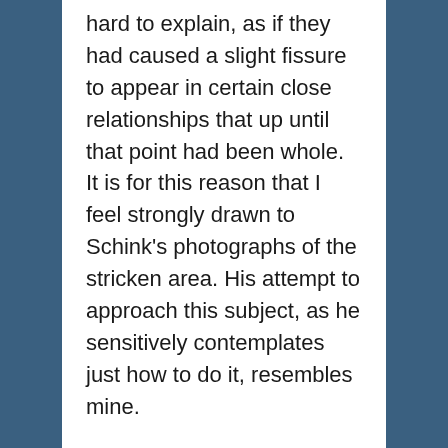hard to explain, as if they had caused a slight fissure to appear in certain close relationships that up until that point had been whole. It is for this reason that I feel strongly drawn to Schink's photographs of the stricken area. His attempt to approach this subject, as he sensitively contemplates just how to do it, resembles mine.
To conclude, I would like to ponder one more time what it means for Hans- Christian Schink to have